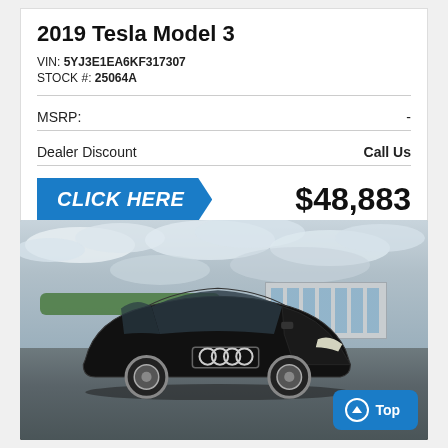2019 Tesla Model 3
VIN: 5YJ3E1EA6KF317307
STOCK #: 25064A
| MSRP: | - |
| Dealer Discount | Call Us |
[Figure (other): Blue 'CLICK HERE' button (parallelogram shape)]
$48,883
[Figure (photo): Photo of a black Audi sedan in a dealership parking lot with an Audi dealership building visible in the background and a cloudy sky]
[Figure (other): Blue 'Top' button with upward arrow icon in bottom-right corner of photo]